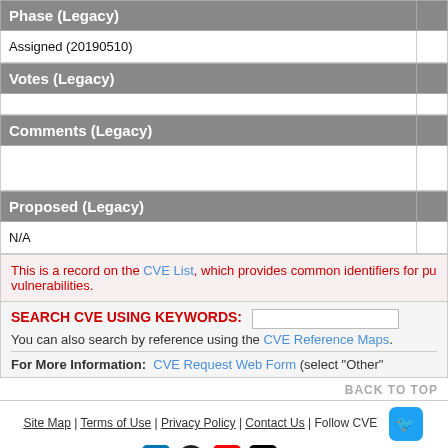| Phase (Legacy) |  |
| --- | --- |
| Assigned (20190510) |  |
| Votes (Legacy) |  |
| --- | --- |
|  |  |
| Comments (Legacy) |  |
| --- | --- |
|  |  |
| Proposed (Legacy) |  |
| --- | --- |
| N/A |  |
This is a record on the CVE List, which provides common identifiers for pu vulnerabilities.
SEARCH CVE USING KEYWORDS:
You can also search by reference using the CVE Reference Maps.
For More Information: CVE Request Web Form (select "Other"
BACK TO TOP
Site Map | Terms of Use | Privacy Policy | Contact Us | Follow CVE
Use of the CVE® List and the associated references from this website are subject to the